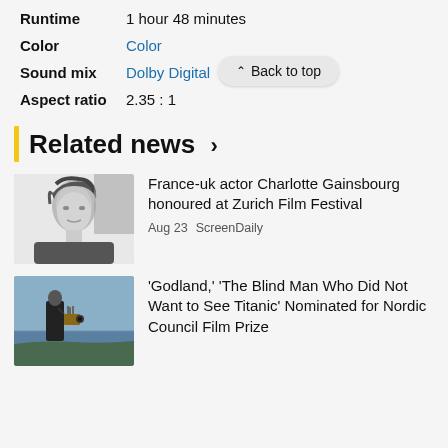Runtime   1 hour 48 minutes
Color   Color
Back to top
Sound mix   Dolby Digital
Aspect ratio   2.35 : 1
Related news >
[Figure (photo): Black and white portrait photo of Charlotte Gainsbourg]
France-uk actor Charlotte Gainsbourg honoured at Zurich Film Festival
Aug 23  ScreenDaily
[Figure (photo): Photo of a person with a camera near water, outdoor scene]
'Godland,' 'The Blind Man Who Did Not Want to See Titanic' Nominated for Nordic Council Film Prize